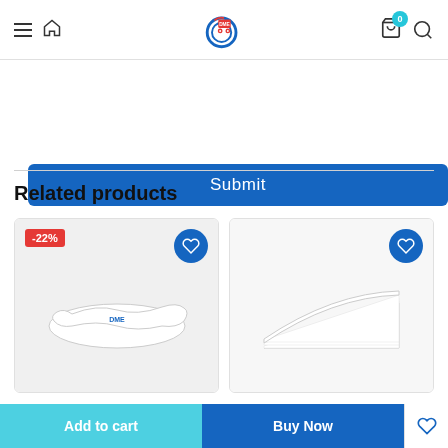[Figure (screenshot): Website header with hamburger menu, home icon, DME logo (wheelchair with shopping cart), cart icon with badge '0', and search icon]
[Figure (other): Blue 'Submit' button]
Related products
[Figure (photo): White contour memory foam pillow with -22% discount badge and blue heart wishlist button]
[Figure (photo): White wedge/ramp pillow with cream foam base and blue heart wishlist button]
[Figure (other): Bottom action bar with 'Add to cart' (teal), 'Buy Now' (blue) buttons and heart wishlist icon]